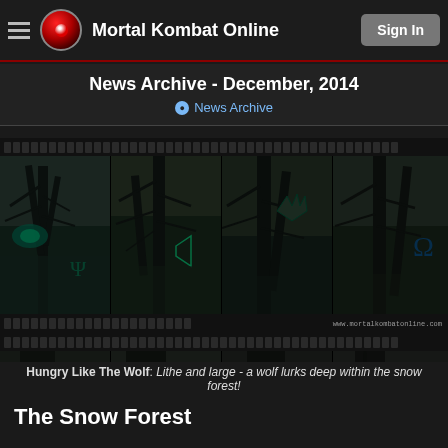Mortal Kombat Online - Sign In
News Archive - December, 2014
• News Archive
[Figure (photo): Film strip contact sheet showing dark forest / snow forest environment art from Mortal Kombat X - row 1 of 4 panels showing bare trees with teal/dark atmosphere. Perforations along top and bottom, watermark www.mortalkombatonline.com]
[Figure (photo): Film strip contact sheet showing dark forest / snow forest environment art from Mortal Kombat X - row 2 of 4 panels showing dark tree trunks and misty atmosphere. Perforations along top and bottom, watermark www.mortalkombatonline.com]
Hungry Like The Wolf: Lithe and large - a wolf lurks deep within the snow forest!
The Snow Forest